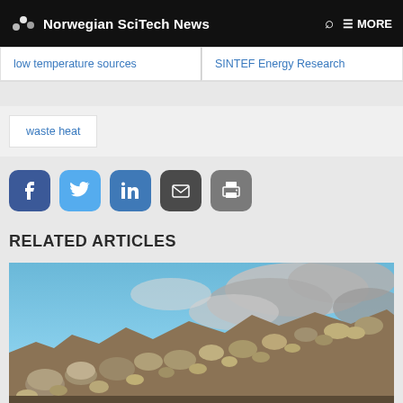Norwegian SciTech News
low temperature sources
SINTEF Energy Research
waste heat
[Figure (infographic): Social media sharing icons: Facebook (blue), Twitter (light blue), LinkedIn (blue), Email (dark grey), Print (grey)]
RELATED ARTICLES
[Figure (photo): Photograph of a rocky hillside or quarry with large stones and boulders in the foreground under a partly cloudy blue sky with grey clouds.]